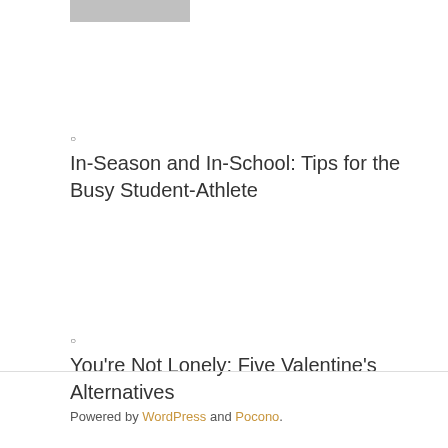[Figure (photo): Partially visible image placeholder at top of page]
○
In-Season and In-School: Tips for the Busy Student-Athlete
○
You're Not Lonely: Five Valentine's Alternatives
Powered by WordPress and Pocono.